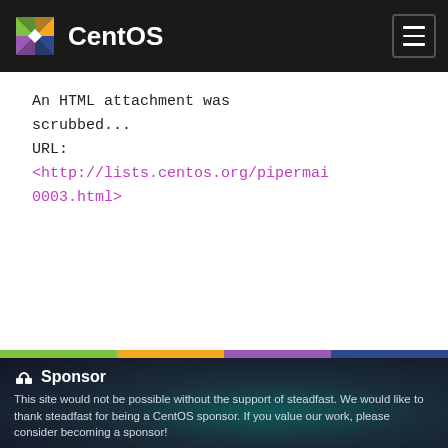CentOS
An HTML attachment was scrubbed...
URL:
<http://lists.centos.org/pipermai 0003.html>
Sponsor
This site would not be possible without the support of steadfast. We would like to thank steadfast for being a CentOS sponsor. If you value our work, please consider becoming a sponsor!